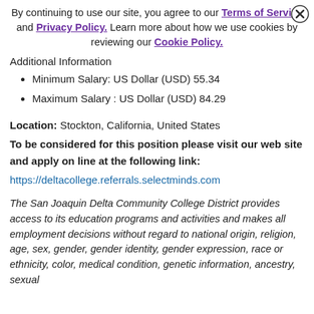By continuing to use our site, you agree to our Terms of Service and Privacy Policy. Learn more about how we use cookies by reviewing our Cookie Policy.
Additional Information
Minimum Salary: US Dollar (USD) 55.34
Maximum Salary : US Dollar (USD) 84.29
Location: Stockton, California, United States
To be considered for this position please visit our web site and apply on line at the following link:
https://deltacollege.referrals.selectminds.com
The San Joaquin Delta Community College District provides access to its education programs and activities and makes all employment decisions without regard to national origin, religion, age, sex, gender, gender identity, gender expression, race or ethnicity, color, medical condition, genetic information, ancestry, sexual